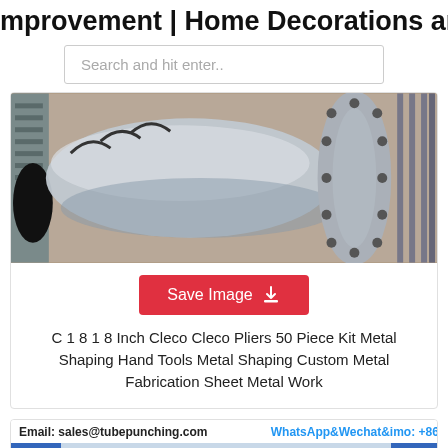mprovement | Home Decorations and
Search and hit enter..
[Figure (photo): Close-up photo of a large metal pipe/duct with a circular flange and bolts, industrial sheet metal fabrication setting]
Save Image
C 1 8 1 8 Inch Cleco Cleco Pliers 50 Piece Kit Metal Shaping Hand Tools Metal Shaping Custom Metal Fabrication Sheet Metal Work
[Figure (photo): Photo of industrial tube punching machine with blue frame; header shows Email: sales@tubepunching.com, WhatsApp&Wechat&imo: +86 18571856923]